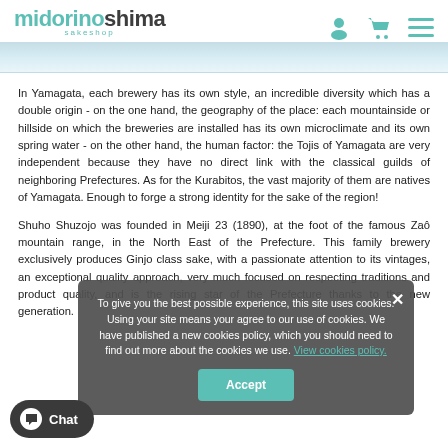midorinoshima sakeshop
[Figure (photo): Banner image strip at top of page, light blue sky/landscape]
In Yamagata, each brewery has its own style, an incredible diversity which has a double origin - on the one hand, the geography of the place: each mountainside or hillside on which the breweries are installed has its own microclimate and its own spring water - on the other hand, the human factor: the Tojis of Yamagata are very independent because they have no direct link with the classical guilds of neighboring Prefectures. As for the Kurabitos, the vast majority of them are natives of Yamagata. Enough to forge a strong identity for the sake of the region!
Shuho Shuzojo was founded in Meiji 23 (1890), at the foot of the famous Zaô mountain range, in the North East of the Prefecture. This family brewery exclusively produces Ginjo class sake, with a passionate attention to its vintages, an exceptional quality approach, very much focused on respecting traditions and product quality, and is the rising star of the Prefecture thanks to the new generation.
To give you the best possible experience, this site uses cookies. Using your site means your agree to our use of cookies. We have published a new cookies policy, which you should need to find out more about the cookies we use. View cookies policy.